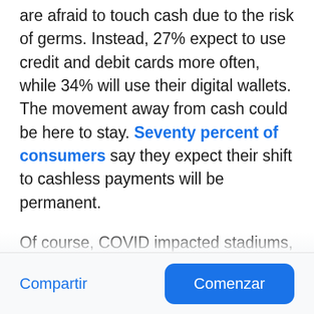are afraid to touch cash due to the risk of germs. Instead, 27% expect to use credit and debit cards more often, while 34% will use their digital wallets. The movement away from cash could be here to stay. Seventy percent of consumers say they expect their shift to cashless payments will be permanent.
Of course, COVID impacted stadiums, too. During the pandemic live events were canceled or held without fans,
Compartir
Comenzar